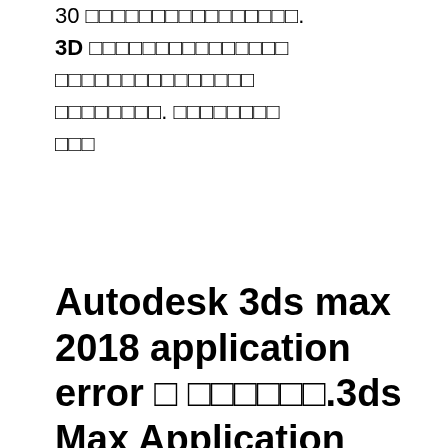30 □□□□□□□□□□□□□□□□. 3D □□□□□□□□□□□□□□□ □□□□□□□□□□□□□□□ □□□□□□□□. □□□□□□□□ □□□
Autodesk 3ds max 2018 application error □ □□□□□□.3ds Max Application Error | 3ds